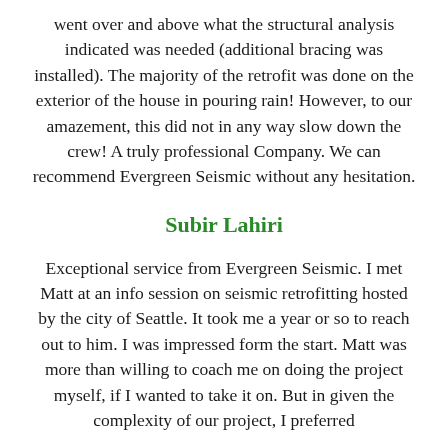went over and above what the structural analysis indicated was needed (additional bracing was installed). The majority of the retrofit was done on the exterior of the house in pouring rain! However, to our amazement, this did not in any way slow down the crew! A truly professional Company. We can recommend Evergreen Seismic without any hesitation.
Subir Lahiri
Exceptional service from Evergreen Seismic. I met Matt at an info session on seismic retrofitting hosted by the city of Seattle. It took me a year or so to reach out to him. I was impressed form the start. Matt was more than willing to coach me on doing the project myself, if I wanted to take it on. But in given the complexity of our project, I preferred